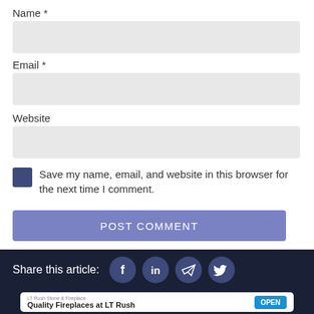Name *
[Figure (other): Empty text input field for Name]
Email *
[Figure (other): Empty text input field for Email]
Website
[Figure (other): Empty text input field for Website]
Save my name, email, and website in this browser for the next time I comment.
POST COMMENT
Share this article:
[Figure (other): Social share icons: Facebook, LinkedIn, Telegram, Twitter]
[Figure (other): Advertisement banner: LT Rush Stone & Fireplace - Quality Fireplaces at LT Rush - OPEN button]